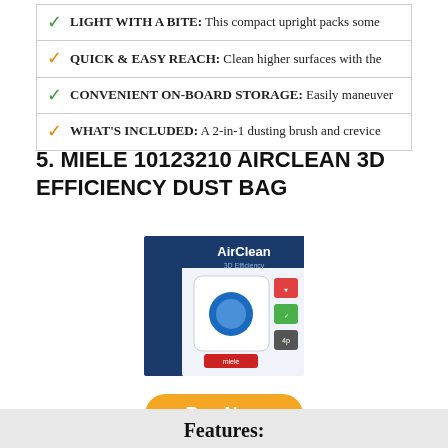LIGHT WITH A BITE: This compact upright packs some
QUICK & EASY REACH: Clean higher surfaces with the
CONVENIENT ON-BOARD STORAGE: Easily maneuver
WHAT'S INCLUDED: A 2-in-1 dusting brush and crevice
5. MIELE 10123210 AIRCLEAN 3D EFFICIENCY DUST BAG
[Figure (photo): Miele AirClean 3D Efficiency Dust Bag product box packaging]
Buy Now
Features: